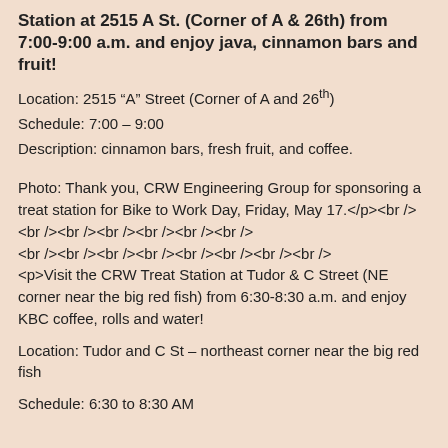Station at 2515 A St. (Corner of A & 26th) from 7:00-9:00 a.m. and enjoy java, cinnamon bars and fruit!
Location: 2515 “A” Street (Corner of A and 26th)
Schedule: 7:00 – 9:00
Description: cinnamon bars, fresh fruit, and coffee.
Photo: Thank you, CRW Engineering Group for sponsoring a treat station for Bike to Work Day, Friday, May 17.</p><br /><br /><br /><br /><br /><br /><br /><br /><br /><br /><br /><br /><br /><br /><br /><p>Visit the CRW Treat Station at Tudor & C Street (NE corner near the big red fish) from 6:30-8:30 a.m. and enjoy KBC coffee, rolls and water!
Location: Tudor and C St – northeast corner near the big red fish
Schedule: 6:30 to 8:30 AM